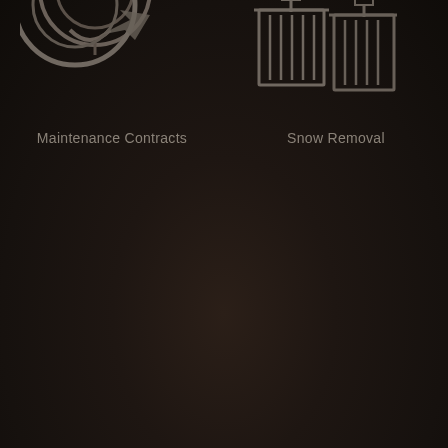[Figure (illustration): Maintenance Contracts icon - partial view of a wrench/tool icon in dark gray on dark background, top-left corner]
Maintenance Contracts
[Figure (illustration): Snow Removal icon - two building/warehouse icons with vertical lines suggesting snow or a vehicle, dark gray on dark background, top-right area]
Snow Removal